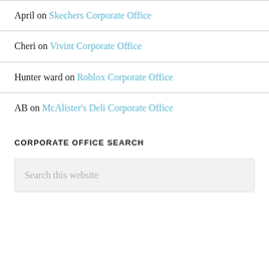April on Skechers Corporate Office
Cheri on Vivint Corporate Office
Hunter ward on Roblox Corporate Office
AB on McAlister's Deli Corporate Office
CORPORATE OFFICE SEARCH
Search this website